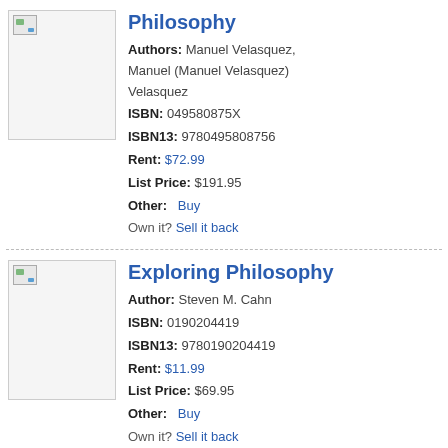Philosophy
Authors: Manuel Velasquez, Manuel (Manuel Velasquez) Velasquez
ISBN: 049580875X
ISBN13: 9780495808756
Rent: $72.99
List Price: $191.95
Other: Buy
Own it? Sell it back
Exploring Philosophy
Author: Steven M. Cahn
ISBN: 0190204419
ISBN13: 9780190204419
Rent: $11.99
List Price: $69.95
Other: Buy
Own it? Sell it back